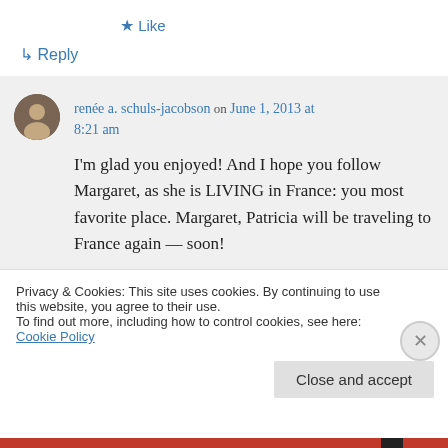★ Like
↪ Reply
renée a. schuls-jacobson on June 1, 2013 at 8:21 am
I'm glad you enjoyed! And I hope you follow Margaret, as she is LIVING in France: you most favorite place. Margaret, Patricia will be traveling to France again — soon!
Privacy & Cookies: This site uses cookies. By continuing to use this website, you agree to their use.
To find out more, including how to control cookies, see here: Cookie Policy
Close and accept